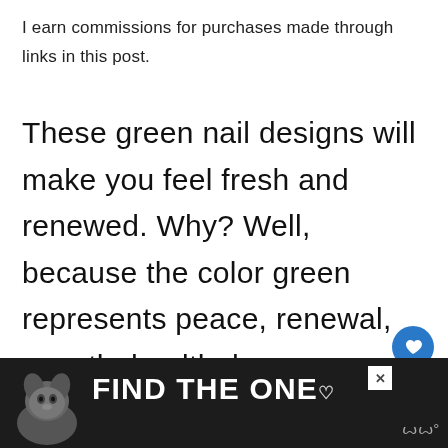I earn commissions for purchases made through links in this post.
These green nail designs will make you feel fresh and renewed. Why? Well, because the color green represents peace, renewal, growth, health, harmony, and more.
Green is not just for the spring and su…
[Figure (other): Floating circular action buttons: a blue heart/save button and a grey share button on the right side of the page]
[Figure (other): Advertisement banner at bottom: dark background, dog photo, 'FIND THE ONE' text in bold white, heart icon, close X button, and site logo marks on right]